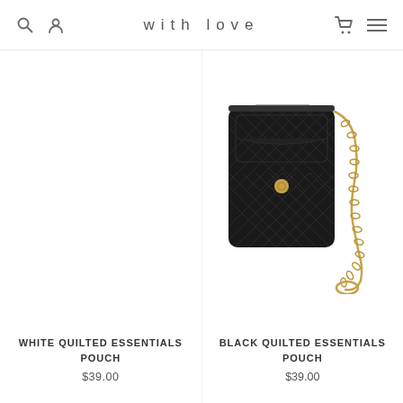with love
[Figure (photo): Black quilted essentials pouch with gold chain strap and gold button closure, shown on white background]
WHITE QUILTED ESSENTIALS POUCH
$39.00
BLACK QUILTED ESSENTIALS POUCH
$39.00